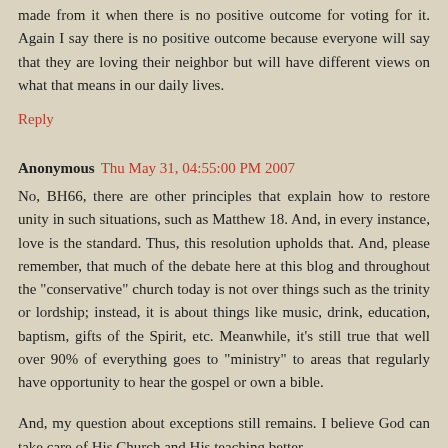made from it when there is no positive outcome for voting for it. Again I say there is no positive outcome because everyone will say that they are loving their neighbor but will have different views on what that means in our daily lives.
Reply
Anonymous Thu May 31, 04:55:00 PM 2007
No, BH66, there are other principles that explain how to restore unity in such situations, such as Matthew 18. And, in every instance, love is the standard. Thus, this resolution upholds that. And, please remember, that much of the debate here at this blog and throughout the "conservative" church today is not over things such as the trinity or lordship; instead, it is about things like music, drink, education, baptism, gifts of the Spirit, etc. Meanwhile, it's still true that well over 90% of everything goes to "ministry" to areas that regularly have opportunity to hear the gospel or own a bible.
And, my question about exceptions still remains. I believe God can take care of His Church and His teaching better